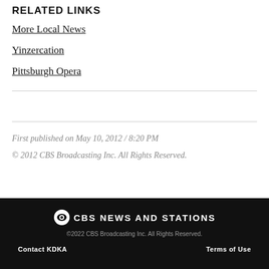RELATED LINKS
More Local News
Yinzercation
Pittsburgh Opera
First published on May 10, 2012 / 8:20 PM
© 2012 CBS Broadcasting Inc. All Rights Reserved.
CBS NEWS AND STATIONS
©2022 CBS Broadcasting Inc. All Rights Reserved.
Contact KDKA   Terms of Use